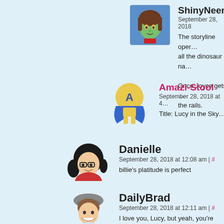[Figure (illustration): Avatar of ShinyNeen - anime-style green-skinned character with brown hair]
ShinyNeen
September 28, 2018
The storyline ope... all the dinosaur na...
Once Joyce gets ... the rails.
[Figure (illustration): Avatar of Amazi-Stool - cartoon character with yellow headgear and blue cape]
Amazi-Stool
September 28, 2018 at 4...
Title: Lucy in the Sky...
[Figure (illustration): Avatar of Danielle - cartoon dark-haired person with glasses]
Danielle
September 28, 2018 at 12:08 am | #
billie's platitude is perfect
[Figure (illustration): Avatar of DailyBrad - cartoon person with grey hat and brown hair, smiling]
DailyBrad
September 28, 2018 at 12:11 am | #
I love you, Lucy, but yeah, you're o... recognizing that her platitudes are...